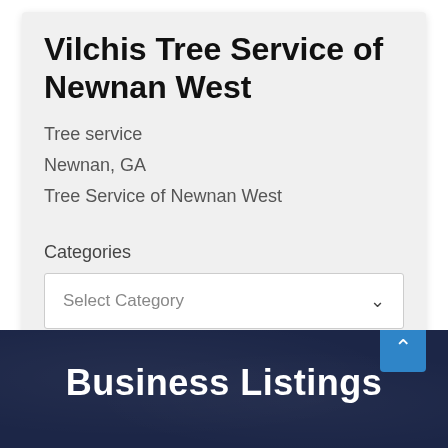Vilchis Tree Service of Newnan West
Tree service
Newnan, GA
Tree Service of Newnan West
Categories
Select Category
Business Listings